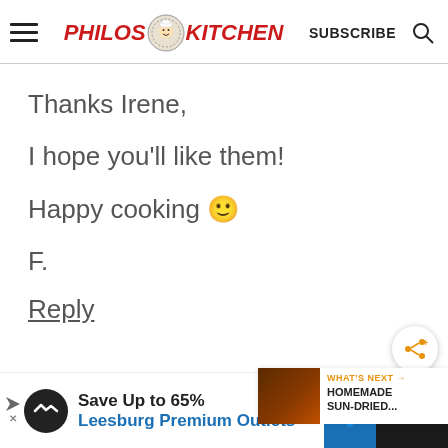Philos Kitchen — SUBSCRIBE
Thanks Irene,

I hope you'll like them!

Happy cooking 🙂

F.
Reply
Save Up to 65% Leesburg Premium Outlets